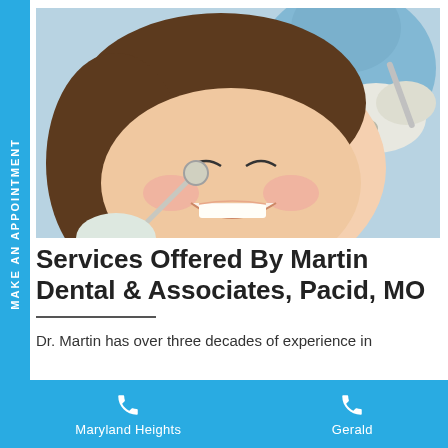[Figure (photo): Dental patient smiling in dental chair with dentist holding dental tools]
Services Offered By Martin Dental & Associates, Pacid, MO
Dr. Martin has over three decades of experience in
Maryland Heights   Gerald